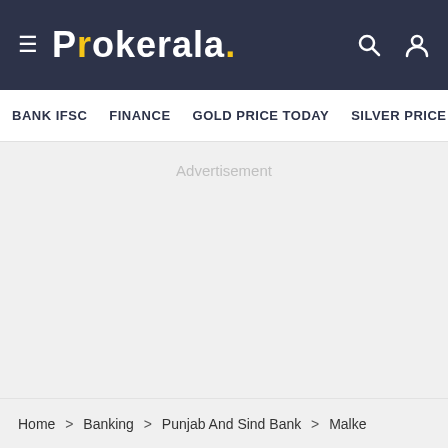≡ Prokeraia.
BANK IFSC   FINANCE   GOLD PRICE TODAY   SILVER PRICE   CL
Advertisement
Home > Banking > Punjab And Sind Bank > Malke